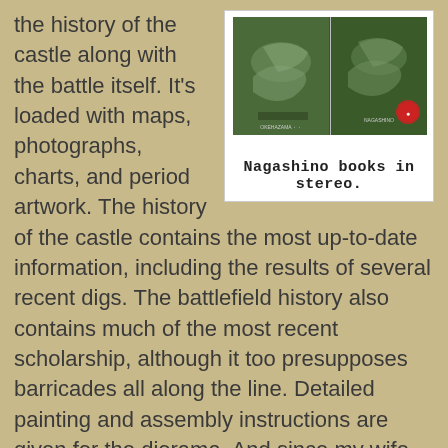[Figure (photo): Two books about Nagashino shown side by side, each displaying aerial/topographic map images on their covers. White background box with caption below.]
Nagashino books in stereo.
the history of the castle along with the battle itself. It's loaded with maps, photographs, charts, and period artwork. The history of the castle contains the most up-to-date information, including the results of several recent digs. The battlefield history also contains much of the most recent scholarship, although it too presupposes barricades all along the line. Detailed painting and assembly instructions are given for the diorama. And since my wife told the retailer she was buying it for an English speaker, they included an excellent 68 page English translation by Ninomiya Hiroshi. It reflects the better scholarship also and among its sources are several excavation reports conducted by